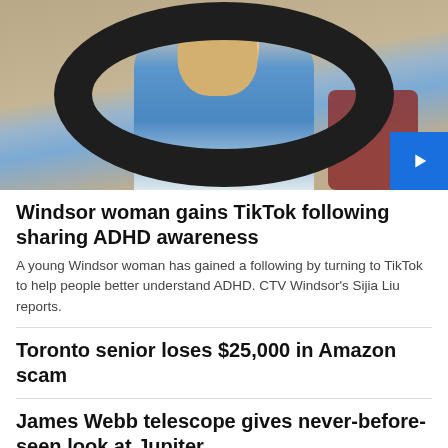[Figure (photo): Young woman with long blonde hair in a blue top, sitting in front of a ring light, smiling and holding a pen toward the camera. Home interior visible in background.]
Windsor woman gains TikTok following sharing ADHD awareness
A young Windsor woman has gained a following by turning to TikTok to help people better understand ADHD. CTV Windsor's Sijia Liu reports.
Toronto senior loses $25,000 in Amazon scam
James Webb telescope gives never-before-seen look at Jupiter
Quiet quitting: What this workplace trend actually